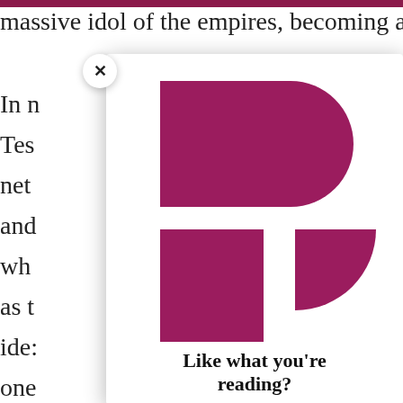...ound up the idol of the massive idol of the empires, becoming a mo...
[Figure (logo): Pandora-style logo mark made of two dark magenta/maroon shapes: a large rectangle with a semicircle on the right forming a capital P shape (top), and a smaller rectangle with a quarter-circle (bottom right), together forming a stylized P logo]
Like what you're reading?
In r... Tes... net... and... wh... as t... ide... one... of C... reb... ten...